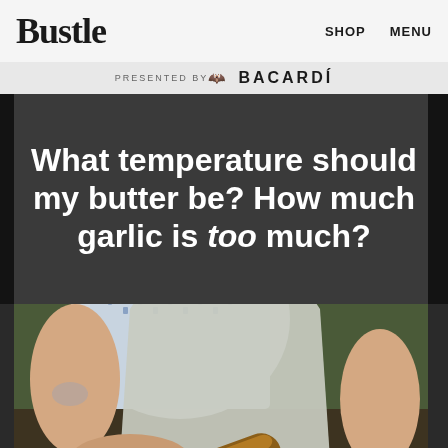Bustle   SHOP   MENU
PRESENTED BY BACARDÍ
What temperature should my butter be? How much garlic is too much?
[Figure (photo): Person in apron and patterned shirt holding multiple baguettes / artisan bread loaves]